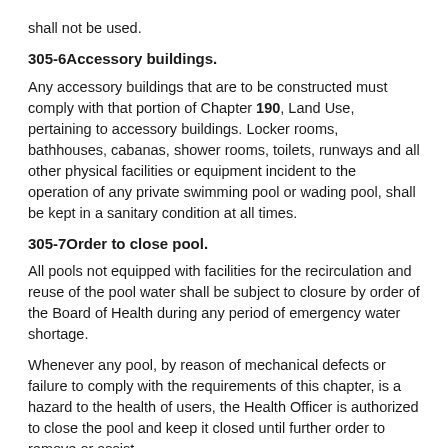shall not be used.
305-6Accessory buildings.
Any accessory buildings that are to be constructed must comply with that portion of Chapter 190, Land Use, pertaining to accessory buildings. Locker rooms, bathhouses, cabanas, shower rooms, toilets, runways and all other physical facilities or equipment incident to the operation of any private swimming pool or wading pool, shall be kept in a sanitary condition at all times.
305-7Order to close pool.
All pools not equipped with facilities for the recirculation and reuse of the pool water shall be subject to closure by order of the Board of Health during any period of emergency water shortage.
Whenever any pool, by reason of mechanical defects or failure to comply with the requirements of this chapter, is a hazard to the health of users, the Health Officer is authorized to close the pool and keep it closed until further order to remove or assist...